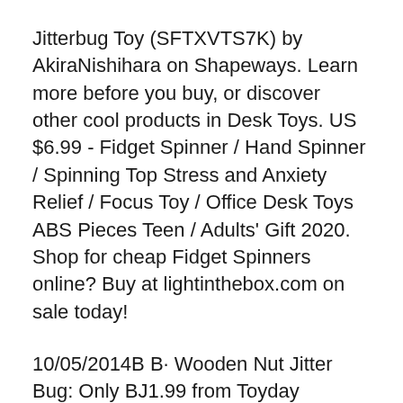Jitterbug Toy (SFTXVTS7K) by AkiraNishihara on Shapeways. Learn more before you buy, or discover other cool products in Desk Toys. US $6.99 - Fidget Spinner / Hand Spinner / Spinning Top Stress and Anxiety Relief / Focus Toy / Office Desk Toys ABS Pieces Teen / Adults' Gift 2020. Shop for cheap Fidget Spinners online? Buy at lightinthebox.com on sale today!
10/05/2014B B· Wooden Nut Jitter Bug: Only BJ1.99 from Toyday Toyshop. A colourful bug in it's own wooden box. Toyday traditional & classic toys is an old fashioned toy shop on the high street and online. Merchants of